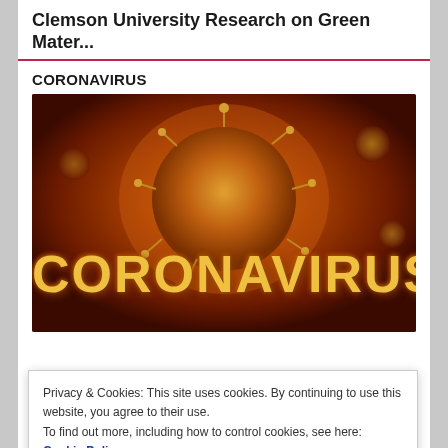Clemson University Research on Green Mater...
CORONAVIRUS
[Figure (photo): Close-up 3D render of a coronavirus particle with golden spikes on a dark red/orange background, with large 'CORONAVIRUS' text overlaid in gold/yellow bold font]
Privacy & Cookies: This site uses cookies. By continuing to use this website, you agree to their use.
To find out more, including how to control cookies, see here: Cookie Policy
Close and accept
LIGNIN
[Figure (photo): Close-up photo of bark or wood texture with some green moss/lichen visible, split in two halves]